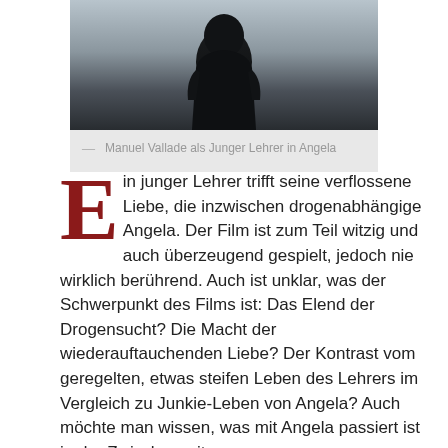[Figure (photo): A person seen from behind in a dark hoodie, standing against a grey overcast sky/water background]
— Manuel Vallade als Junger Lehrer in Angela
Ein junger Lehrer trifft seine verflossene Liebe, die inzwischen drogenabhängige Angela. Der Film ist zum Teil witzig und auch überzeugend gespielt, jedoch nie wirklich berührend. Auch ist unklar, was der Schwerpunkt des Films ist: Das Elend der Drogensucht? Die Macht der wiederauftauchenden Liebe? Der Kontrast vom geregelten, etwas steifen Leben des Lehrers im Vergleich zu Junkie-Leben von Angela? Auch möchte man wissen, was mit Angela passiert ist in der Zwischenzeit.
Der Film ist dotiert mit dem Action Light Preis für das beste Schweizer Nachwuchstalent (41'000 CHF).